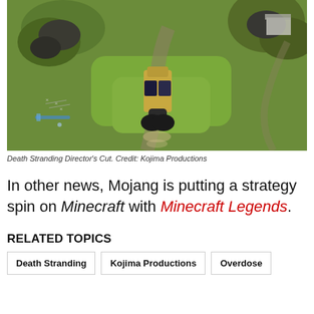[Figure (photo): Aerial screenshot from Death Stranding Director's Cut showing a large vehicle/exoskeleton traversing a green hillside terrain with rocks and paths, viewed from above. HUD elements visible in lower left corner.]
Death Stranding Director's Cut. Credit: Kojima Productions
In other news, Mojang is putting a strategy spin on Minecraft with Minecraft Legends.
RELATED TOPICS
Death Stranding
Kojima Productions
Overdose